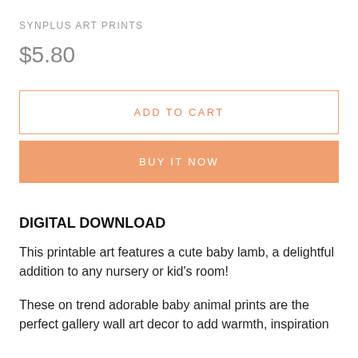SYNPLUS ART PRINTS
$5.80
ADD TO CART
BUY IT NOW
DIGITAL DOWNLOAD
This printable art features a cute baby lamb, a delightful addition to any nursery or kid's room!
These on trend adorable baby animal prints are the perfect gallery wall art decor to add warmth, inspiration